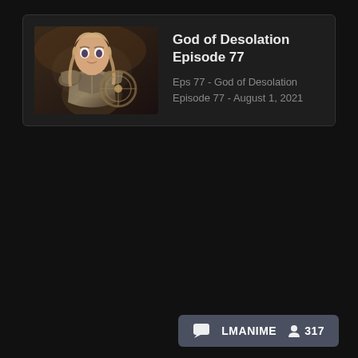[Figure (screenshot): Anime streaming app episode card showing 'God of Desolation Episode 77' with a thumbnail image of an armored fantasy character and episode metadata text]
God of Desolation Episode 77
Eps 77 - God of Desolation Episode 77 - August 1, 2021
LMANIME  317